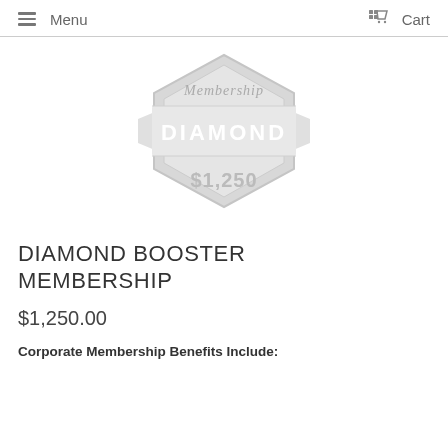Menu   Cart
[Figure (illustration): Diamond Booster Membership badge/logo. A hexagonal badge shape in light gray with the script text 'Membership' at the top, a wide ribbon banner across the middle reading 'DIAMOND' in bold white, and '$1,250' below in large text. The overall badge is gray/silver toned.]
DIAMOND BOOSTER MEMBERSHIP
$1,250.00
Corporate Membership Benefits Include: